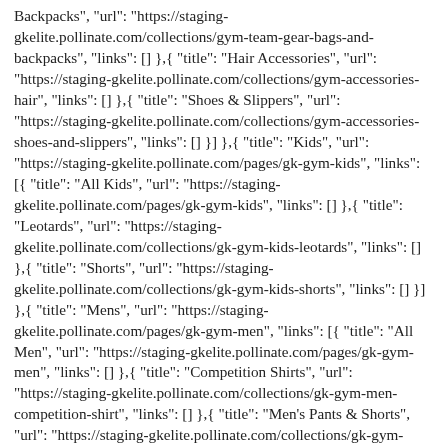Backpacks", "url": "https://staging-gkelite.pollinate.com/collections/gym-team-gear-bags-and-backpacks", "links": [] },{ "title": "Hair Accessories", "url": "https://staging-gkelite.pollinate.com/collections/gym-accessories-hair", "links": [] },{ "title": "Shoes & Slippers", "url": "https://staging-gkelite.pollinate.com/collections/gym-accessories-shoes-and-slippers", "links": [] }] },{ "title": "Kids", "url": "https://staging-gkelite.pollinate.com/pages/gk-gym-kids", "links": [{ "title": "All Kids", "url": "https://staging-gkelite.pollinate.com/pages/gk-gym-kids", "links": [] },{ "title": "Leotards", "url": "https://staging-gkelite.pollinate.com/collections/gk-gym-kids-leotards", "links": [] },{ "title": "Shorts", "url": "https://staging-gkelite.pollinate.com/collections/gk-gym-kids-shorts", "links": [] }] },{ "title": "Mens", "url": "https://staging-gkelite.pollinate.com/pages/gk-gym-men", "links": [{ "title": "All Men", "url": "https://staging-gkelite.pollinate.com/pages/gk-gym-men", "links": [] },{ "title": "Competition Shirts", "url": "https://staging-gkelite.pollinate.com/collections/gk-gym-men-competition-shirt", "links": [] },{ "title": "Men's Pants & Shorts", "url": "https://staging-gkelite.pollinate.com/collections/gk-gym-men-pants-and-shorts", "links": [] },{ "title": "Sam Mikulak Collection", "url": "https://staging-gkelite.pollinate.com/collections/gk-gym-men-collections-sam-mikulak", "links": [] },{ "title": "Yul Moldauer Collection", "url":